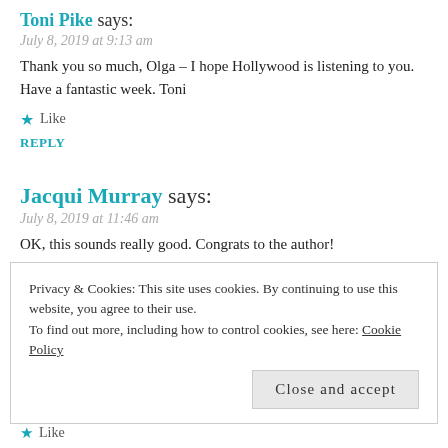Toni Pike says:
July 8, 2019 at 9:13 am
Thank you so much, Olga – I hope Hollywood is listening to you. Have a fantastic week. Toni
★ Like
REPLY
Jacqui Murray says:
July 8, 2019 at 11:46 am
OK, this sounds really good. Congrats to the author!
★ Like
REPLY
Privacy & Cookies: This site uses cookies. By continuing to use this website, you agree to their use. To find out more, including how to control cookies, see here: Cookie Policy
Close and accept
★ Like